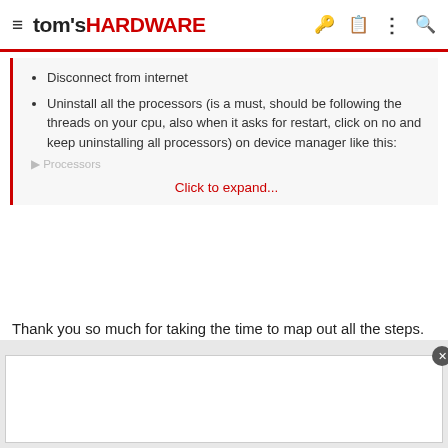tom's HARDWARE
Disconnect from internet
Uninstall all the processors (is a must, should be following the threads on your cpu, also when it asks for restart, click on no and keep uninstalling all processors) on device manager like this:
Click to expand...
Thank you so much for taking the time to map out all the steps. In a nutshell, what exactly is the root cause in your opinion? I have 4 windows O.S.'s in my multi-boot system. I have 1xW7, 3 xW10's. The problem exists on all 4. So if I can streamline the process, that would help.
[Figure (other): Advertisement placeholder box with close button]